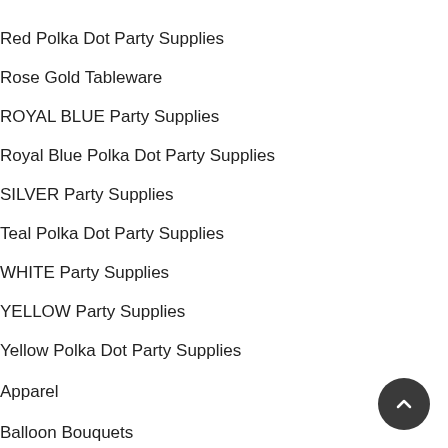Red Polka Dot Party Supplies
Rose Gold Tableware
ROYAL BLUE Party Supplies
Royal Blue Polka Dot Party Supplies
SILVER Party Supplies
Teal Polka Dot Party Supplies
WHITE Party Supplies
YELLOW Party Supplies
Yellow Polka Dot Party Supplies
Apparel
Balloon Bouquets
Balloons